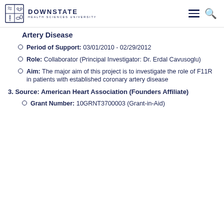DOWNSTATE HEALTH SCIENCES UNIVERSITY
Artery Disease
Period of Support: 03/01/2010 - 02/29/2012
Role: Collaborator (Principal Investigator: Dr. Erdal Cavusoglu)
Aim: The major aim of this project is to investigate the role of F11R in patients with established coronary artery disease
3. Source: American Heart Association (Founders Affiliate)
Grant Number: 10GRNT3700003 (Grant-in-Aid)